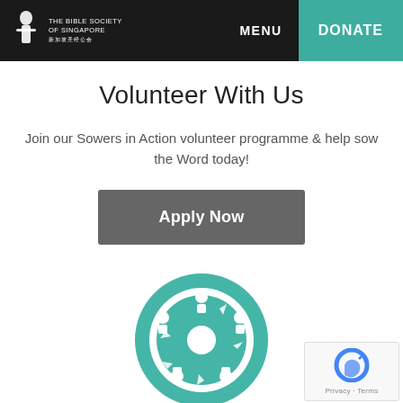THE BIBLE SOCIETY OF SINGAPORE | MENU | DONATE
Volunteer With Us
Join our Sowers in Action volunteer programme & help sow the Word today!
Apply Now
[Figure (illustration): Teal circle icon showing people holding hands in a ring around a central figure, representing teamwork/community volunteering]
Join Our Team